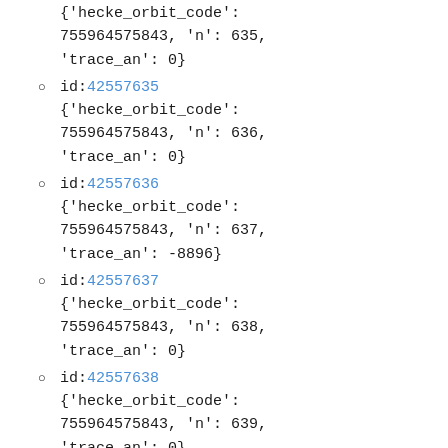{'hecke_orbit_code': 755964575843, 'n': 635, 'trace_an': 0}
id: 42557635
{'hecke_orbit_code': 755964575843, 'n': 636, 'trace_an': 0}
id: 42557636
{'hecke_orbit_code': 755964575843, 'n': 637, 'trace_an': -8896}
id: 42557637
{'hecke_orbit_code': 755964575843, 'n': 638, 'trace_an': 0}
id: 42557638
{'hecke_orbit_code': 755964575843, 'n': 639, 'trace_an': 0}
id: 42557639